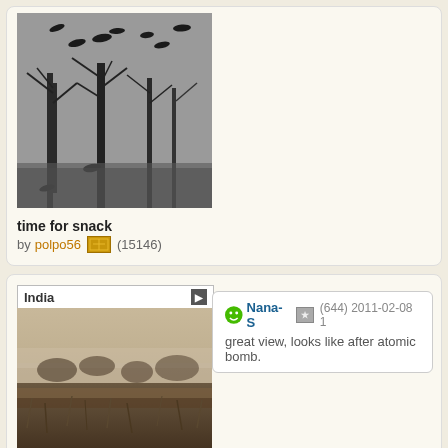[Figure (photo): Black and white photo of birds flying over bare winter trees]
time for snack
by polpo56 (15146)
[Figure (photo): Misty landscape photo labeled India - Panna National Park]
Panna National Park
by jabumbum (1310)
Nana-S (644) 2011-02-08
great view, looks like after atomic bomb.